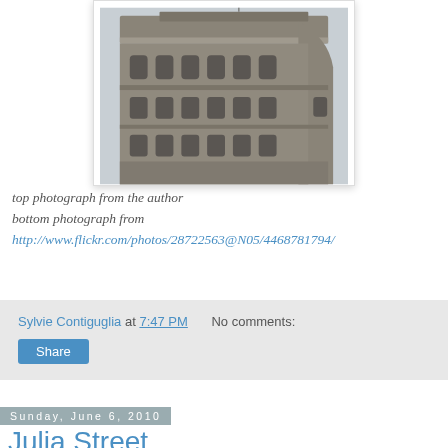[Figure (photo): Upward-looking photograph of the upper floors of the Flatiron Building in New York City, showing its distinctive curved limestone facade, ornate cornice, and classical architectural details against a pale grey sky.]
top photograph from the author
bottom photograph from
http://www.flickr.com/photos/28722563@N05/4468781794/
Sylvie Contiguglia at 7:47 PM   No comments:
Share
Sunday, June 6, 2010
Julia Street